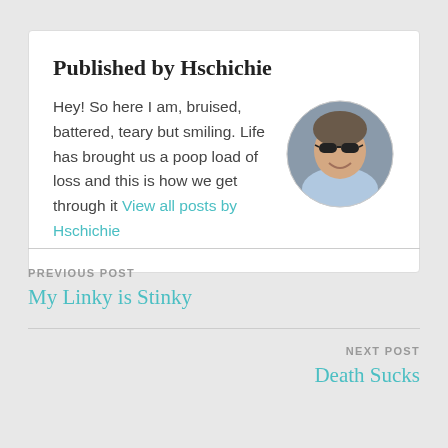Published by Hschichie
Hey! So here I am, bruised, battered, teary but smiling. Life has brought us a poop load of loss and this is how we get through it View all posts by Hschichie
[Figure (photo): Circular portrait photo of a person smiling and wearing sunglasses, outdoors]
PREVIOUS POST
My Linky is Stinky
NEXT POST
Death Sucks